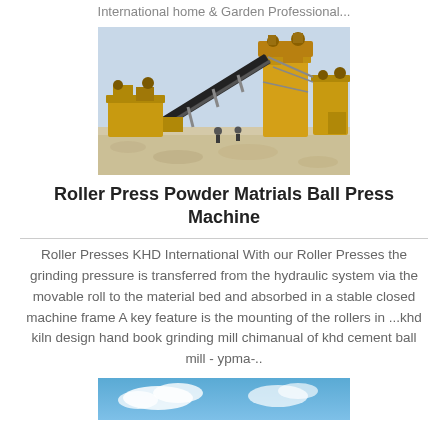International home & Garden Professional...
[Figure (photo): Industrial mining/crushing equipment with yellow machinery, conveyor belts, and workers on a gravel site]
Roller Press Powder Matrials Ball Press Machine
Roller Presses KHD International With our Roller Presses the grinding pressure is transferred from the hydraulic system via the movable roll to the material bed and absorbed in a stable closed machine frame A key feature is the mounting of the rollers in ...khd kiln design hand book grinding mill chimanual of khd cement ball mill - ypma-..
[Figure (photo): Partial view of a blue sky scene, bottom of page]